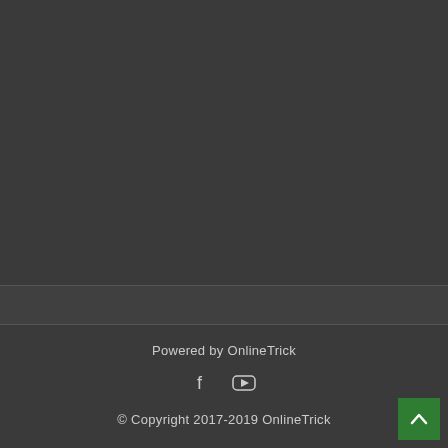Powered by OnlineTrick
© Copyright 2017-2019 OnlineTrick